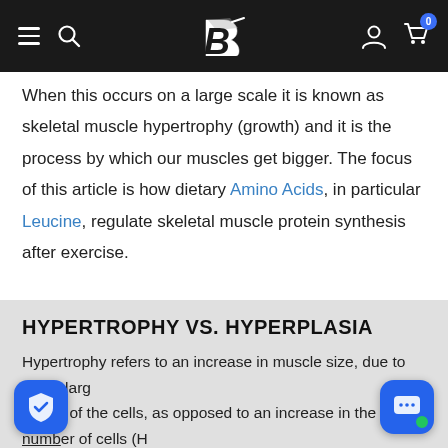Bodybuilding.com navigation bar
When this occurs on a large scale it is known as skeletal muscle hypertrophy (growth) and it is the process by which our muscles get bigger. The focus of this article is how dietary Amino Acids, in particular Leucine, regulate skeletal muscle protein synthesis after exercise.
HYPERTROPHY VS. HYPERPLASIA
Hypertrophy refers to an increase in muscle size, due to the enlargement of the cells, as opposed to an increase in the number of cells (Hyperplasia). Hypertrophy is most commonly seen in muscle t